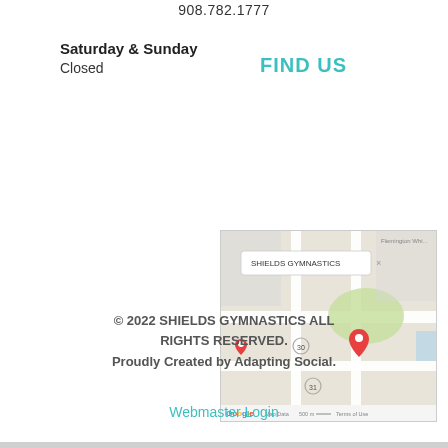908.782.1777
Saturday & Sunday
Closed
FIND US
[Figure (map): Google Maps screenshot showing the location of Shields Gymnastics with a red map pin and a popup label reading 'SHIELDS GYMNASTICS'. The map shows local streets and a green area. The bottom of the map shows Google logo, Map Data, 500m scale, and Terms of Use.]
© 2022 SHIELDS GYMNASTICS ALL RIGHTS RESERVED.
Proudly Created by Adapting Social.
Webmaster Login